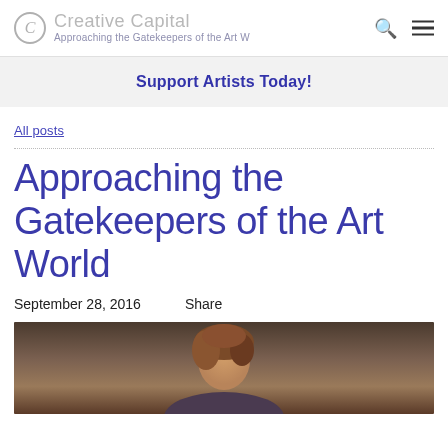Creative Capital — Approaching the Gatekeepers of the Art W...
Support Artists Today!
All posts
Approaching the Gatekeepers of the Art World
September 28, 2016     Share
[Figure (photo): Portrait photograph of a person with wavy brown hair against a dark grey background]